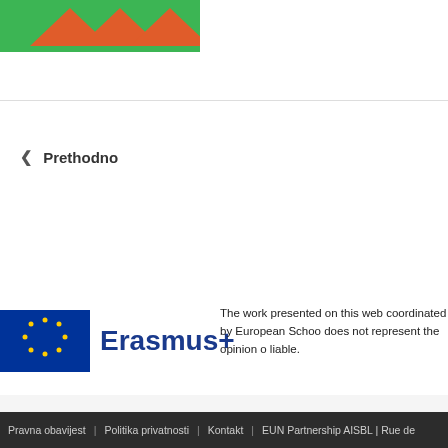[Figure (logo): Triangular logo with green background and orange triangle shapes]
‹ Prethodno
[Figure (logo): Erasmus+ logo with EU flag (blue rectangle with yellow stars) and 'Erasmus+' text in dark blue]
The work presented on this web coordinated by European Schoo does not represent the opinion o liable.
Pravna obavijest | Politika privatnosti | Kontakt | EUN Partnership AISBL | Rue de